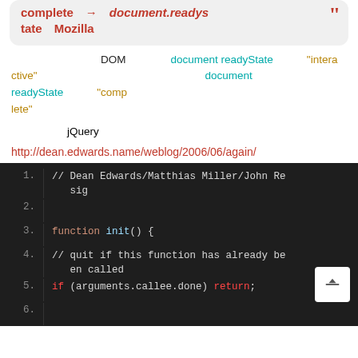complete → document.readyState → tate　Mozilla
DOM　　　　document readyState　　　"interactive"　　　　　　　　　　　　　　　document readyState　　　"complete"
jQuery
http://dean.edwards.name/weblog/2006/06/again/
[Figure (screenshot): Code block showing JavaScript: lines 1-6. Line 1: // Dean Edwards/Matthias Miller/John Resig. Line 2: (empty). Line 3: function init() {. Line 4: // quit if this function has already been called. Line 5: if (arguments.callee.done) return;. Line 6: (partial).]